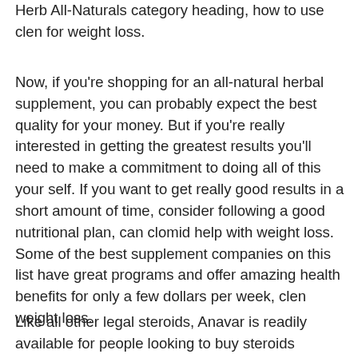Herb All-Naturals category heading, how to use clen for weight loss.
Now, if you're shopping for an all-natural herbal supplement, you can probably expect the best quality for your money. But if you're really interested in getting the greatest results you'll need to make a commitment to doing all of this your self. If you want to get really good results in a short amount of time, consider following a good nutritional plan, can clomid help with weight loss. Some of the best supplement companies on this list have great programs and offer amazing health benefits for only a few dollars per week, clen weight loss.
Like all other legal steroids, Anavar is readily available for people looking to buy steroids